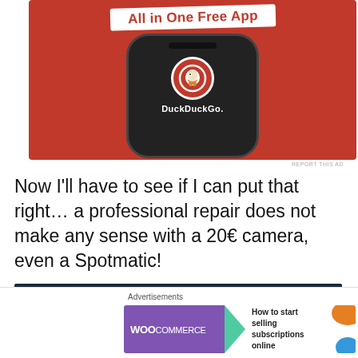[Figure (screenshot): DuckDuckGo advertisement banner showing 'All in One Free App' text on orange background with a phone displaying DuckDuckGo logo]
REPORT THIS AD
Now I'll have to see if I can put that right… a professional repair does not make any sense with a 20€ camera, even a Spotmatic!
[Figure (photo): Dark blue/black background with two bright white circular light orbs or bokeh lights]
Advertisements
[Figure (screenshot): WooCommerce advertisement: 'How to start selling subscriptions online']